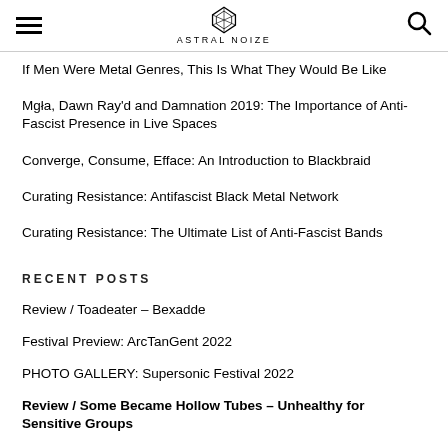ASTRAL NOIZE
If Men Were Metal Genres, This Is What They Would Be Like
Mgła, Dawn Ray'd and Damnation 2019: The Importance of Anti-Fascist Presence in Live Spaces
Converge, Consume, Efface: An Introduction to Blackbraid
Curating Resistance: Antifascist Black Metal Network
Curating Resistance: The Ultimate List of Anti-Fascist Bands
RECENT POSTS
Review / Toadeater – Bexadde
Festival Preview: ArcTanGent 2022
PHOTO GALLERY: Supersonic Festival 2022
Review / Some Became Hollow Tubes – Unhealthy for Sensitive Groups